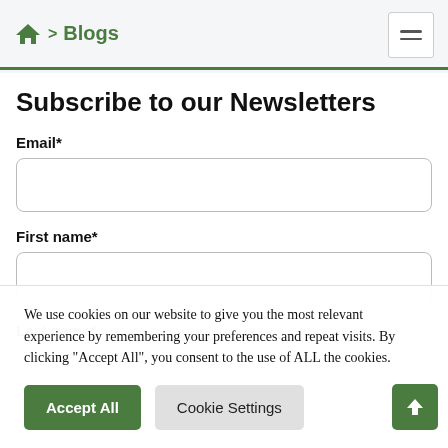🏠 > Blogs
Subscribe to our Newsletters
Email*
First name*
Last name*
We use cookies on our website to give you the most relevant experience by remembering your preferences and repeat visits. By clicking "Accept All", you consent to the use of ALL the cookies.